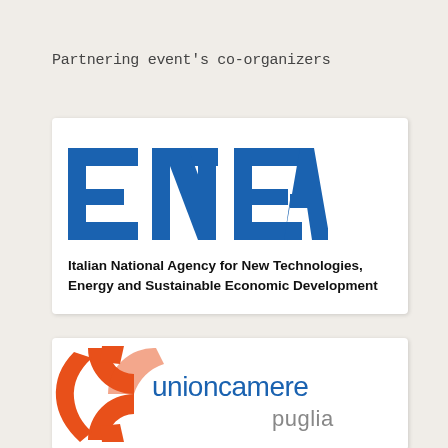Partnering event's co-organizers
[Figure (logo): ENEA logo - blue stylized letters E N E A]
Italian National Agency for New Technologies, Energy and Sustainable Economic Development
[Figure (logo): Unioncamere Puglia logo - orange circular icon with blue text 'unioncamere' and grey text 'puglia']